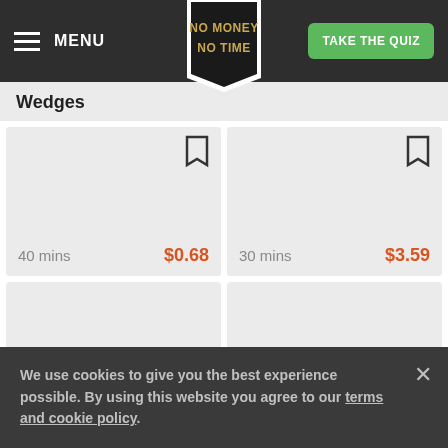MENU | NO MONEY NO TIME | TAKE THE QUIZ
Wedges
40 mins  $0.68
30 mins  $3.59
[Figure (screenshot): Two empty recipe card image areas]
We use cookies to give you the best experience possible. By using this website you agree to our terms and cookie policy.